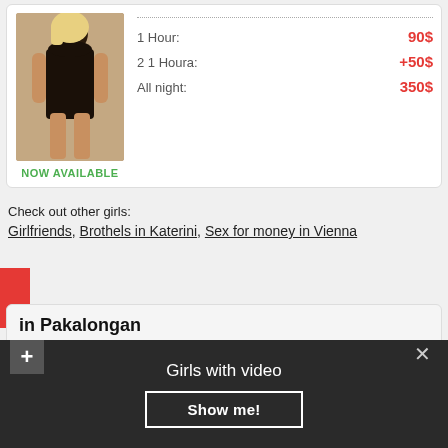[Figure (photo): Woman in black dress posing]
NOW AVAILABLE
|  |  |
| --- | --- |
| 1 Hour: | 90$ |
| 2 1 Houra: | +50$ |
| All night: | 350$ |
Check out other girls:
Girlfriends, Brothels in Katerini, Sex for money in Vienna
in Pakalongan
Professional in Pakalongan doing Oral, can be found only on ROCKYSERVICES.IN. To fuck lesbian is very simple. Just send her an SMS. Now in this city the most popular lady - Eleanor. Тоже как-то не охота ей в этот Escort in Pakalongan выходной оставаться самой да еще без кайфа. 333
Girls with video
Show me!